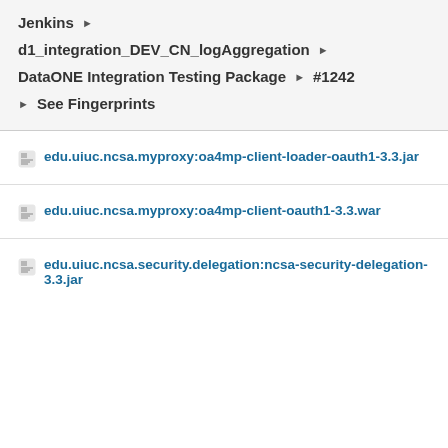Jenkins ▶
d1_integration_DEV_CN_logAggregation ▶
DataONE Integration Testing Package ▶ #1242
▶ See Fingerprints
edu.uiuc.ncsa.myproxy:oa4mp-client-loader-oauth1-3.3.jar
edu.uiuc.ncsa.myproxy:oa4mp-client-oauth1-3.3.war
edu.uiuc.ncsa.security.delegation:ncsa-security-delegation-3.3.jar